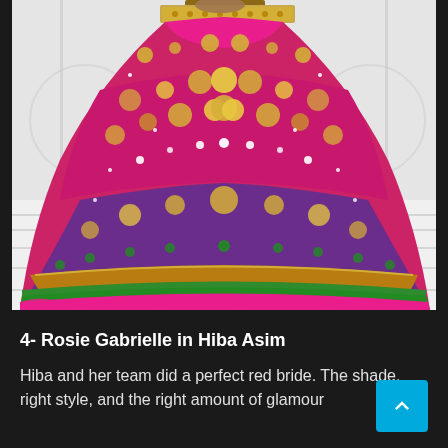[Figure (photo): A person wearing a heavily embroidered, multi-colored bridal lehenga (Indian/Pakistani bridal skirt) with intricate floral patterns in pink, purple, gold, and green. The photo shows the lower body and the flowing skirt against a white marble-like floor background.]
4- Rosie Gabrielle in Hiba Asim
Hiba and her team did a perfect red bride. The shade, right style, and the right amount of glamour